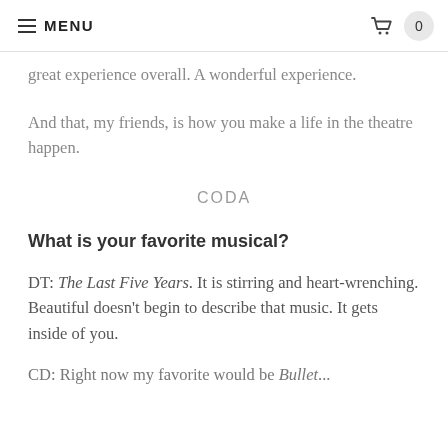MENU  0
great experience overall. A wonderful experience.
And that, my friends, is how you make a life in the theatre happen.
CODA
What is your favorite musical?
DT: The Last Five Years. It is stirring and heart-wrenching. Beautiful doesn't begin to describe that music. It gets inside of you.
CD: Right now my favorite would be Bullets...